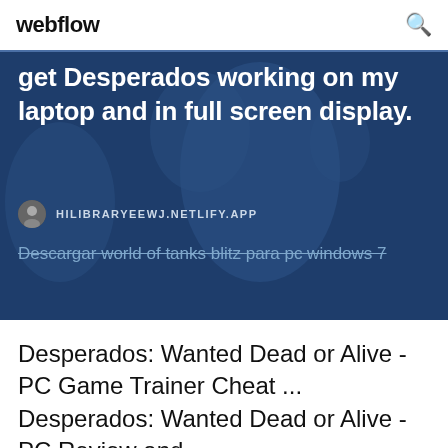webflow
get Desperados working on my laptop and in full screen display.
HILIBRARYEEWJ.NETLIFY.APP
Descargar world of tanks blitz para pc windows 7
Desperados: Wanted Dead or Alive - PC Game Trainer Cheat ... Desperados: Wanted Dead or Alive - PC Review and